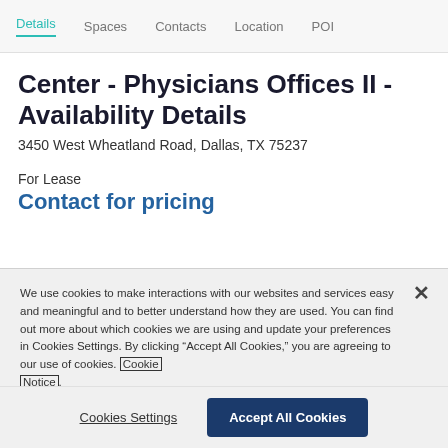Details  Spaces  Contacts  Location  POI
Center - Physicians Offices II - Availability Details
3450 West Wheatland Road, Dallas, TX 75237
For Lease
Contact for pricing
We use cookies to make interactions with our websites and services easy and meaningful and to better understand how they are used. You can find out more about which cookies we are using and update your preferences in Cookies Settings. By clicking “Accept All Cookies,” you are agreeing to our use of cookies. Cookie Notice.
Cookies Settings
Accept All Cookies